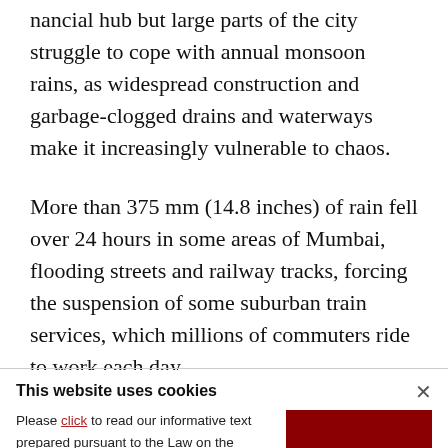nancial hub but large parts of the city struggle to cope with annual monsoon rains, as widespread construction and garbage-clogged drains and waterways make it increasingly vulnerable to chaos.
More than 375 mm (14.8 inches) of rain fell over 24 hours in some areas of Mumbai, flooding streets and railway tracks, forcing the suspension of some suburban train services, which millions of commuters ride to work each day.
This website uses cookies
Please click to read our informative text prepared pursuant to the Law on the Protection of Personal Data No. 6698 and to get information about the cookies used on our